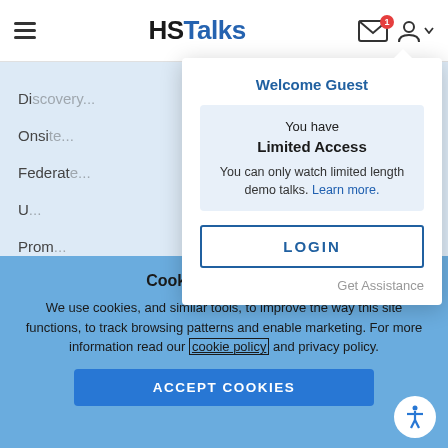HSTalks
[Figure (screenshot): Website navigation background with light blue area showing partial menu items: Di..., Onsi..., Federate..., U..., Prom...]
Welcome Guest
You have Limited Access
You can only watch limited length demo talks. Learn more.
LOGIN
Get Assistance
Cookies and privacy
We use cookies, and similar tools, to improve the way this site functions, to track browsing patterns and enable marketing. For more information read our cookie policy and privacy policy.
ACCEPT COOKIES